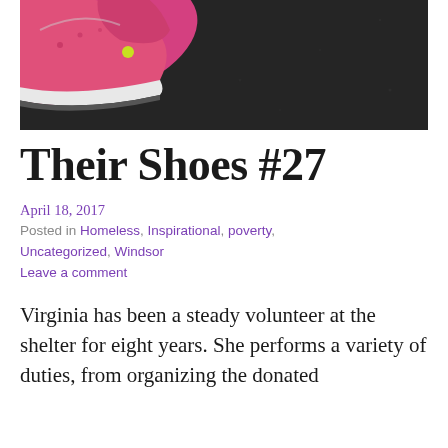[Figure (photo): Close-up photograph of a pink/magenta sneaker shoe on a dark asphalt surface]
Their Shoes #27
April 18, 2017
Posted in Homeless, Inspirational, poverty, Uncategorized, Windsor
Leave a comment
Virginia has been a steady volunteer at the shelter for eight years. She performs a variety of duties, from organizing the donated clothing and finding garments that are a good